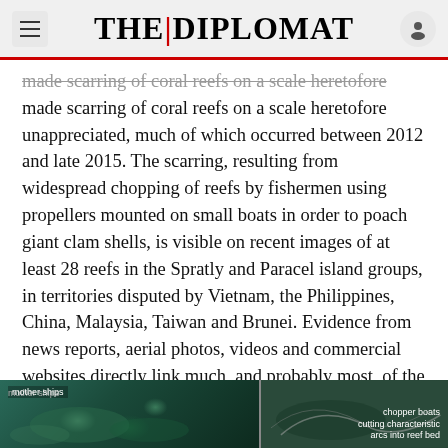THE|DIPLOMAT
made scarring of coral reefs on a scale heretofore unappreciated, much of which occurred between 2012 and late 2015. The scarring, resulting from widespread chopping of reefs by fishermen using propellers mounted on small boats in order to poach giant clam shells, is visible on recent images of at least 28 reefs in the Spratly and Paracel island groups, in territories disputed by Vietnam, the Philippines, China, Malaysia, Taiwan and Brunei. Evidence from news reports, aerial photos, videos and commercial websites directly link much, and probably most, of the “prop chop” reef destruction to fishermen from China, particularly from the port of Tanmen on Hainan Island.
[Figure (photo): Underwater/aerial image split into two panels: left panel shows reef with label 'mother ships', right panel shows 'chopper boats cutting characteristic arcs into reef bed']